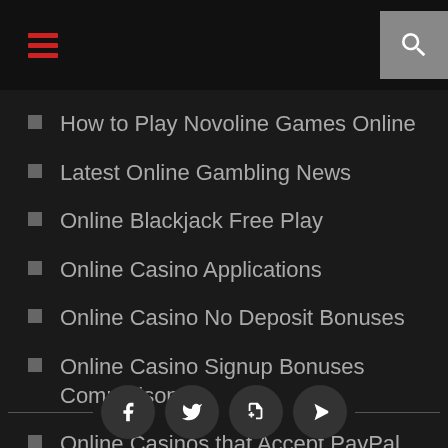Navigation header with hamburger menu and search icon
How to Play Novoline Games Online
Latest Online Gambling News
Online Blackjack Free Play
Online Casino Applications
Online Casino No Deposit Bonuses
Online Casino Signup Bonuses Comparison
Online Casinos that Accept PayPal Deposits
Online Gambling Promotions
The United States Gambling Laws and Regulations
Social sharing icons: Facebook, Twitter, Tumblr, Share